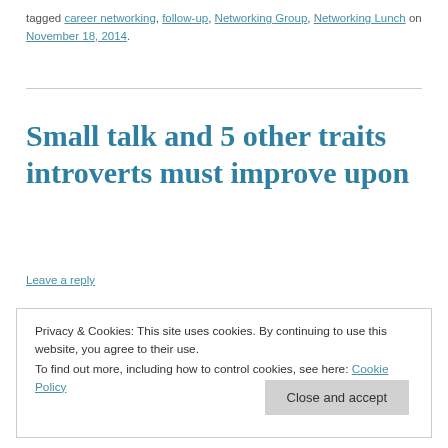tagged career networking, follow-up, Networking Group, Networking Lunch on November 18, 2014.
Small talk and 5 other traits introverts must improve upon
Leave a reply
Privacy & Cookies: This site uses cookies. By continuing to use this website, you agree to their use.
To find out more, including how to control cookies, see here: Cookie Policy